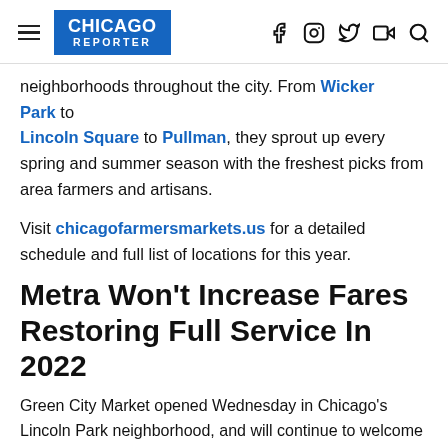CHICAGO REPORTER
neighborhoods throughout the city. From Wicker Park to Lincoln Square to Pullman, they sprout up every spring and summer season with the freshest picks from area farmers and artisans.
Visit chicagofarmersmarkets.us for a detailed schedule and full list of locations for this year.
Metra Won't Increase Fares Restoring Full Service In 2022
Green City Market opened Wednesday in Chicago's Lincoln Park neighborhood, and will continue to welcome visitors through October. GCM will begin to have a rotating schedule with a location in the West Loop neighborhood starting June 5.